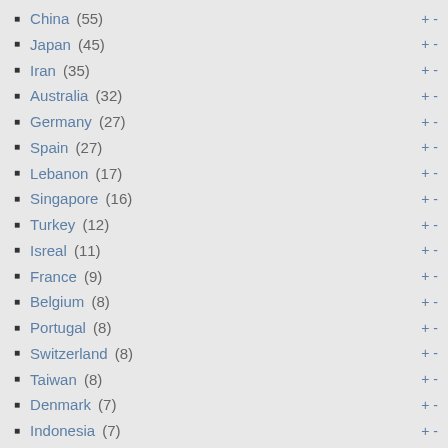China (55)
Japan (45)
Iran (35)
Australia (32)
Germany (27)
Spain (27)
Lebanon (17)
Singapore (16)
Turkey (12)
Isreal (11)
France (9)
Belgium (8)
Portugal (8)
Switzerland (8)
Taiwan (8)
Denmark (7)
Indonesia (7)
Kenya (7)
Netherlands (7)
Show more